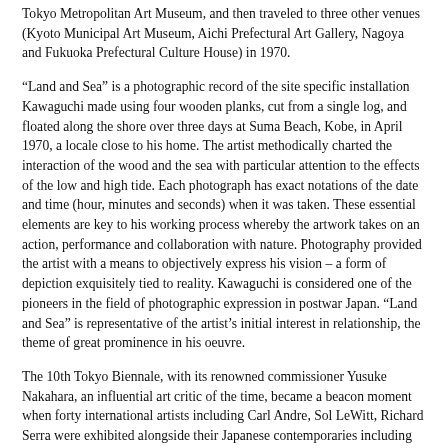Tokyo Metropolitan Art Museum, and then traveled to three other venues (Kyoto Municipal Art Museum, Aichi Prefectural Art Gallery, Nagoya and Fukuoka Prefectural Culture House) in 1970.
“Land and Sea” is a photographic record of the site specific installation Kawaguchi made using four wooden planks, cut from a single log, and floated along the shore over three days at Suma Beach, Kobe, in April 1970, a locale close to his home. The artist methodically charted the interaction of the wood and the sea with particular attention to the effects of the low and high tide. Each photograph has exact notations of the date and time (hour, minutes and seconds) when it was taken. These essential elements are key to his working process whereby the artwork takes on an action, performance and collaboration with nature. Photography provided the artist with a means to objectively express his vision – a form of depiction exquisitely tied to reality. Kawaguchi is considered one of the pioneers in the field of photographic expression in postwar Japan. “Land and Sea” is representative of the artist’s initial interest in relationship, the theme of great prominence in his oeuvre.
The 10th Tokyo Biennale, with its renowned commissioner Yusuke Nakahara, an influential art critic of the time, became a beacon moment when forty international artists including Carl Andre, Sol LeWitt, Richard Serra were exhibited alongside their Japanese contemporaries including Kawaguchi, On Kawara and Jiro Takamatsu. Of great historical impact, the Tokyo Biennale introduced then under recognized new movements such as Arte Povera